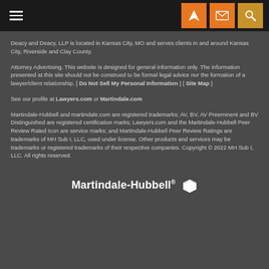Navigation bar with hamburger menu and icons
Deacy and Deacy, LLP is located in Kansas City, MO and serves clients in and around Kansas City, Riverside and Clay County.
Attorney Advertising. This website is designed for general information only. The information presented at this site should not be construed to be formal legal advice nor the formation of a lawyer/client relationship. [ Do Not Sell My Personal Information ] [ Site Map ]
See our profile at Lawyers.com or Martindale.com
Martindale-Hubbell and martindale.com are registered trademarks; AV, BV, AV Preeminent and BV Distinguished are registered certification marks; Lawyers.com and the Martindale-Hubbell Peer Review Rated Icon are service marks; and Martindale-Hubbell Peer Review Ratings are trademarks of MH Sub I, LLC, used under license. Other products and services may be trademarks or registered trademarks of their respective companies. Copyright © 2022 MH Sub I, LLC. All rights reserved.
[Figure (logo): Martindale-Hubbell logo with hexagon icon]